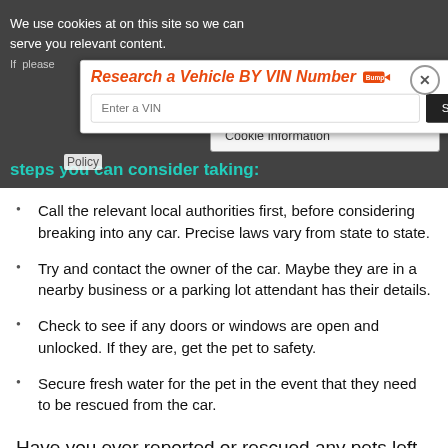We use cookies at on this site so we can serve you relevant content. If please Cookie Information Policy
[Figure (screenshot): VIN lookup widget with orange italic heading 'Research a Vehicle BY VIN Number', Bump logo, text input 'Enter a VIN', and dark 'Search' button]
steps you can consider taking:
Call the relevant local authorities first, before considering breaking into any car. Precise laws vary from state to state.
Try and contact the owner of the car. Maybe they are in a nearby business or a parking lot attendant has their details.
Check to see if any doors or windows are open and unlocked. If they are, get the pet to safety.
Secure fresh water for the pet in the event that they need to be rescued from the car.
Have you ever reported or rescued any pets left inside a vehicle that's too hot? Will you help get the